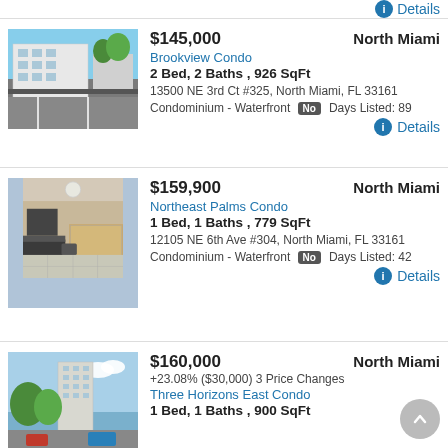Details (top partial, previous listing)
$145,000 | North Miami | Brookview Condo | 2 Bed, 2 Baths, 926 SqFt | 13500 NE 3rd Ct #325, North Miami, FL 33161 | Condominium - Waterfront No | Days Listed: 89 | Details
$159,900 | North Miami | Northeast Palms Condo | 1 Bed, 1 Baths, 779 SqFt | 12105 NE 6th Ave #304, North Miami, FL 33161 | Condominium - Waterfront No | Days Listed: 42 | Details
$160,000 | North Miami | +23.08% ($30,000) 3 Price Changes | Three Horizons East Condo | 1 Bed, 1 Baths, 900 SqFt